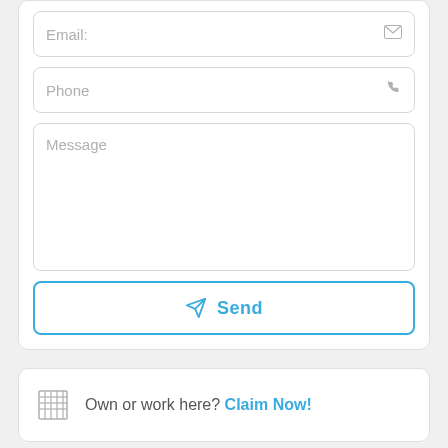[Figure (screenshot): Email input field with envelope icon on the right]
[Figure (screenshot): Phone input field with phone icon on the right]
[Figure (screenshot): Message textarea field]
[Figure (screenshot): Send button with paper plane icon and blue border]
Own or work here? Claim Now!